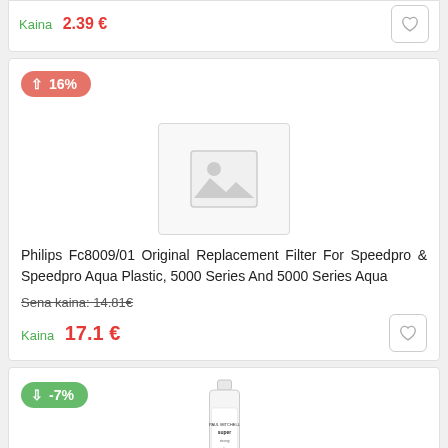Kaina  2.39 €
[Figure (other): Product card with 16% price increase badge, placeholder image, product title, old price and current price]
Philips Fc8009/01 Original Replacement Filter For Speedpro & Speedpro Aqua Plastic, 5000 Series And 5000 Series Aqua
Sena kaina: 14.81€
Kaina  17.1 €
[Figure (other): Second product card with -7% discount badge and product image (Paul Mitchell hair product bottle)]